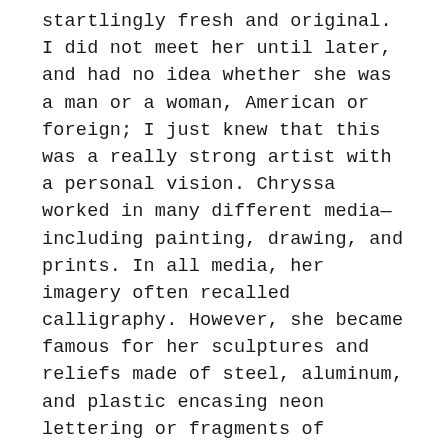startlingly fresh and original. I did not meet her until later, and had no idea whether she was a man or a woman, American or foreign; I just knew that this was a really strong artist with a personal vision. Chryssa worked in many different media—including painting, drawing, and prints. In all media, her imagery often recalled calligraphy. However, she became famous for her sculptures and reliefs made of steel, aluminum, and plastic encasing neon lettering or fragments of letters, sometimes distorted or [Login] o they cannot actually be read. Artists had used neon before, but Chryssa made the colored tubes the